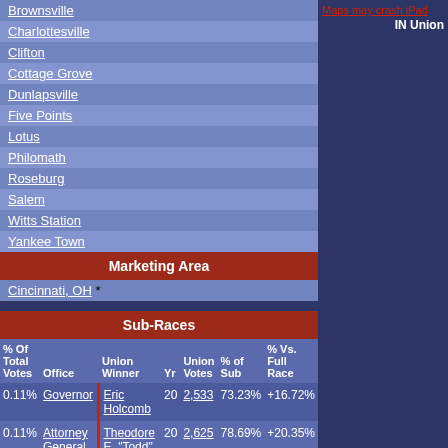Brownsville
Charlottesville
Clifton
Cottage Grove
Dunlapsville
Five Points
Lotus
Philomath
Roseburg
Salem
Witts Station
Yankee Town
Marketing Area
Cincinnati, OH *
Sub-Races
| % Of Total Votes | Office | Union Winner | Yr | Union Votes | % of Sub | % Vs. Full Race |
| --- | --- | --- | --- | --- | --- | --- |
| 0.11% | Governor | Eric Holcomb | 20 | 2,533 | 73.23% | +16.72% |
| 0.11% | Attorney General | Theodore E. "Todd" Rokita | 20 | 2,625 | 78.69% | +20.35% |
| 0.11% | Auditor | Tera Klutz | 18 | 1,803 | 72.94% | +17.44% |
Maps may crash iPad
IN Union